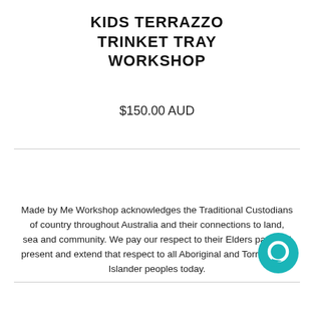KIDS TERRAZZO TRINKET TRAY WORKSHOP
$150.00 AUD
Made by Me Workshop acknowledges the Traditional Custodians of country throughout Australia and their connections to land, sea and community. We pay our respect to their Elders past and present and extend that respect to all Aboriginal and Torres Strait Islander peoples today.
[Figure (illustration): Teal circular chat/messaging button icon in bottom right corner]